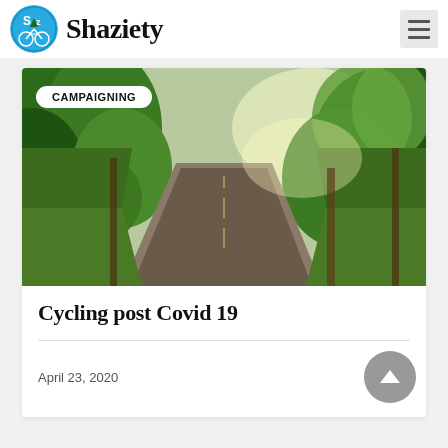Shaziety
[Figure (photo): A tree-lined country road with green foliage on both sides, bright sunlight filtering through the trees. A white badge overlay reads CAMPAIGNING.]
Cycling post Covid 19
April 23, 2020